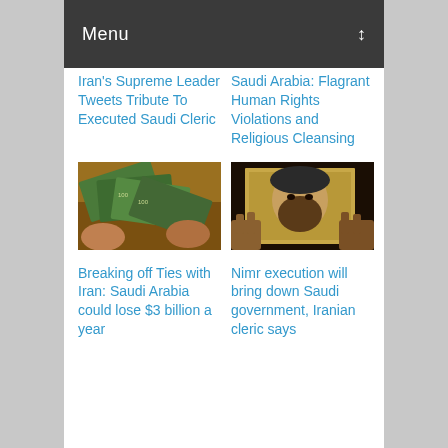Menu
Iran's Supreme Leader Tweets Tribute To Executed Saudi Cleric
Saudi Arabia: Flagrant Human Rights Violations and Religious Cleansing
[Figure (photo): Hands holding US dollar bills spread out on a wooden surface]
[Figure (photo): Hands holding up a photograph of a bearded cleric]
Breaking off Ties with Iran: Saudi Arabia could lose $3 billion a year
Nimr execution will bring down Saudi government, Iranian cleric says